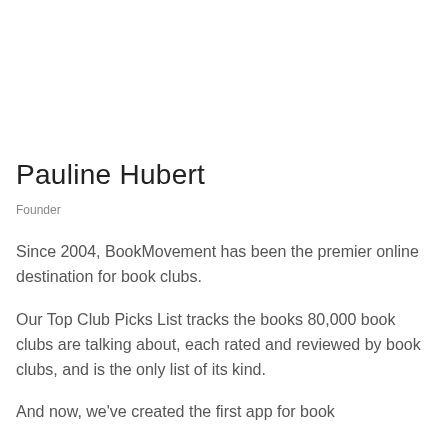Pauline Hubert
Founder
Since 2004, BookMovement has been the premier online destination for book clubs.
Our Top Club Picks List tracks the books 80,000 book clubs are talking about, each rated and reviewed by book clubs, and is the only list of its kind.
And now, we've created the first app for book…